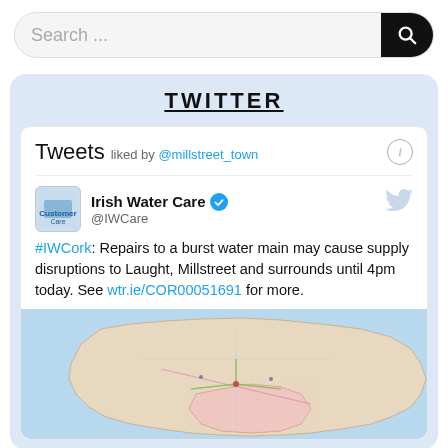Search ...
TWITTER
Tweets liked by @millstreet_town
Irish Water Care @IWCare
#IWCork: Repairs to a burst water main may cause supply disruptions to Laught, Millstreet and surrounds until 4pm today. See wtr.ie/COR00051691 for more.
[Figure (map): Map of southern Ireland showing county boundaries and road networks, with Cork region highlighted.]